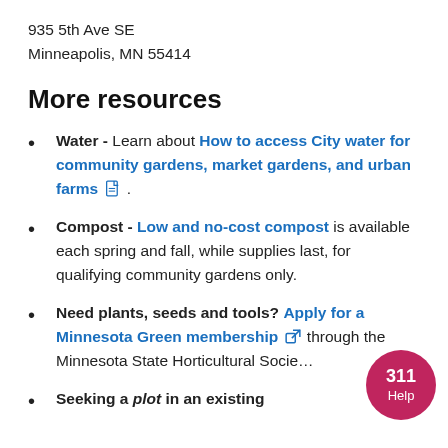935 5th Ave SE
Minneapolis, MN 55414
More resources
Water - Learn about How to access City water for community gardens, market gardens, and urban farms [PDF].
Compost - Low and no-cost compost is available each spring and fall, while supplies last, for qualifying community gardens only.
Need plants, seeds and tools? Apply for a Minnesota Green membership [external link] through the Minnesota State Horticultural Society
Seeking a plot in an existing